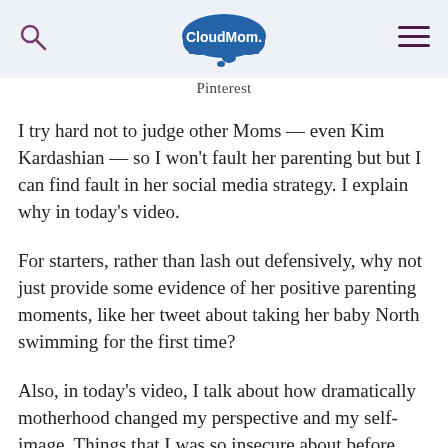CloudMom
I try hard not to judge other Moms — even Kim Kardashian — so I won't fault her parenting but but I can find fault in her social media strategy.  I explain why in today's video.
For starters, rather than lash out defensively, why not just provide some evidence of her positive parenting moments, like her tweet about taking her baby North swimming for the first time?
Also, in today's video, I talk about how dramatically motherhood changed my perspective and my self-image.  Things that I was so insecure about before, such